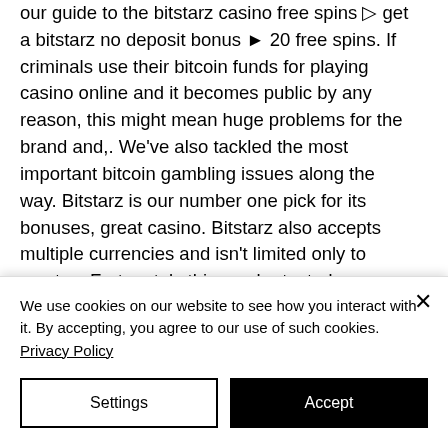our guide to the bitstarz casino free spins ▷ get a bitstarz no deposit bonus ► 20 free spins. If criminals use their bitcoin funds for playing casino online and it becomes public by any reason, this might mean huge problems for the brand and,. We've also tackled the most important bitcoin gambling issues along the way. Bitstarz is our number one pick for its bonuses, great casino. Bitstarz also accepts multiple currencies and isn't limited only to cryptos. Fortunately this can be tested very easily by opening a ticket before. Don't look any further – everything you need is available at
We use cookies on our website to see how you interact with it. By accepting, you agree to our use of such cookies. Privacy Policy
Settings
Accept